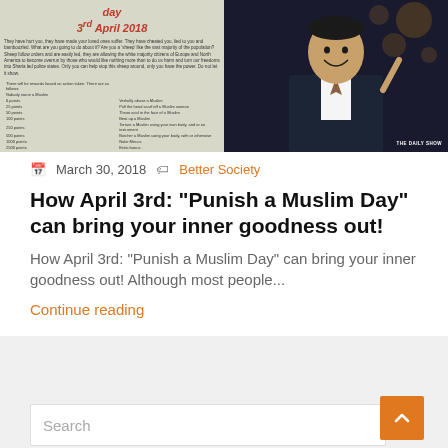[Figure (photo): Left half shows a flyer/document with 'day 3rd April 2018' in red text with a table of points. Right half shows a man in a suit smiling and pointing, from The Daily Show.]
March 30, 2018   Better Society
How April 3rd: “Punish a Muslim Day” can bring your inner goodness out!
How April 3rd: “Punish a Muslim Day” can bring your inner goodness out! Although most people...
Continue reading
Search